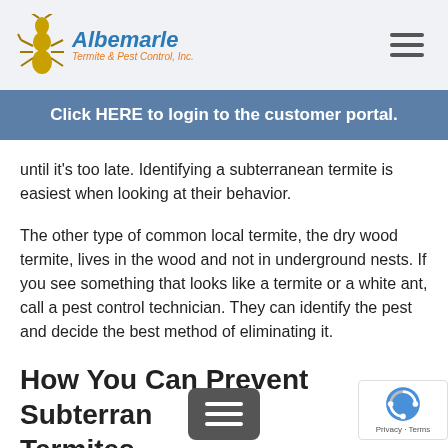Albemarle Termite & Pest Control, Inc.
Click HERE to login to the customer portal.
until it's too late. Identifying a subterranean termite is easiest when looking at their behavior.
The other type of common local termite, the dry wood termite, lives in the wood and not in underground nests. If you see something that looks like a termite or a white ant, call a pest control technician. They can identify the pest and decide the best method of eliminating it.
How You Can Prevent Subterranean Termites